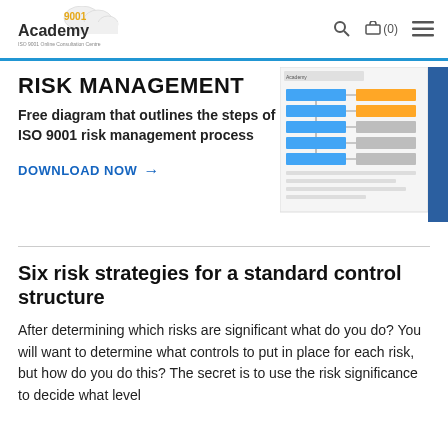9001 Academy — ISO 9001 Online Consultation Centre
RISK MANAGEMENT
Free diagram that outlines the steps of ISO 9001 risk management process
DOWNLOAD NOW →
[Figure (screenshot): Thumbnail preview of a risk management diagram document with blue and orange blocks]
Six risk strategies for a standard control structure
After determining which risks are significant what do you do? You will want to determine what controls to put in place for each risk, but how do you do this? The secret is to use the risk significance to decide what level